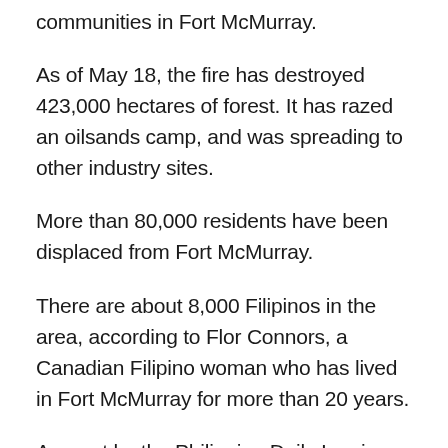communities in Fort McMurray.
As of May 18, the fire has destroyed 423,000 hectares of forest. It has razed an oilsands camp, and was spreading to other industry sites.
More than 80,000 residents have been displaced from Fort McMurray.
There are about 8,000 Filipinos in the area, according to Flor Connors, a Canadian Filipino woman who has lived in Fort McMurray for more than 20 years.
A report by the Philippine Daily Inquirer noted that Connors and her family fled to Edmonton, almost 400 kilometres south of Fort McMurray.